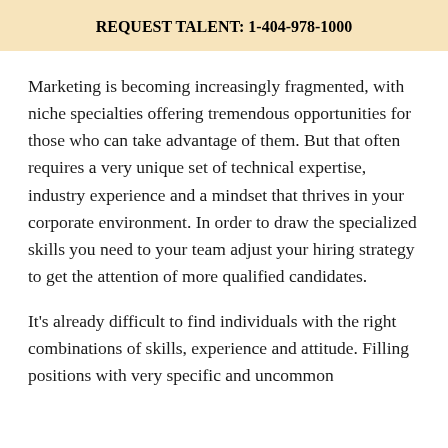REQUEST TALENT:
1-404-978-1000
Marketing is becoming increasingly fragmented, with niche specialties offering tremendous opportunities for those who can take advantage of them. But that often requires a very unique set of technical expertise, industry experience and a mindset that thrives in your corporate environment. In order to draw the specialized skills you need to your team adjust your hiring strategy to get the attention of more qualified candidates.
It's already difficult to find individuals with the right combinations of skills, experience and attitude. Filling positions with very specific and uncommon